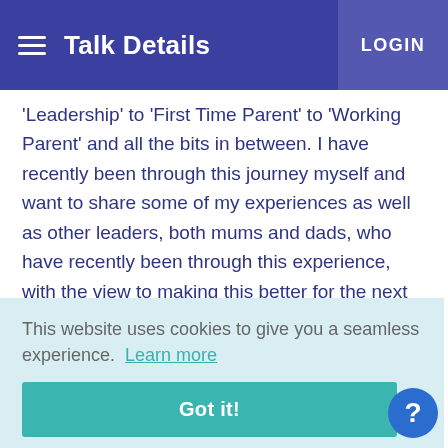Talk Details  LOGIN
‘Leadership’ to ‘First Time Parent’ to ‘Working Parent’ and all the bits in between. I have recently been through this journey myself and want to share some of my experiences as well as other leaders, both mums and dads, who have recently been through this experience, with the view to making this better for the next people to go on this incredible journey.
This website uses cookies to give you a seamless experience.  Learn more
Got it!
of
industry to make this journey better for all involved.